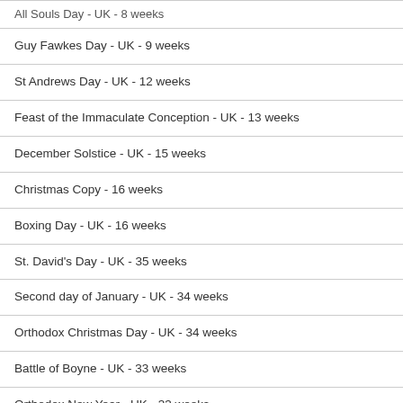All Souls Day - UK - 8 weeks
Guy Fawkes Day - UK - 9 weeks
St Andrews Day - UK - 12 weeks
Feast of the Immaculate Conception - UK - 13 weeks
December Solstice - UK - 15 weeks
Christmas Copy - 16 weeks
Boxing Day - UK - 16 weeks
St. David's Day - UK - 35 weeks
Second day of January - UK - 34 weeks
Orthodox Christmas Day - UK - 34 weeks
Battle of Boyne - UK - 33 weeks
Orthodox New Year - UK - 33 weeks
St Patricks Day - UK - 32 weeks